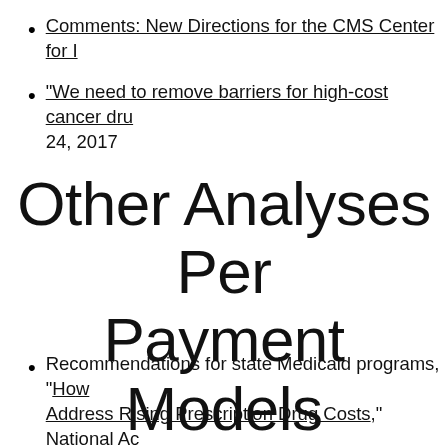Comments: New Directions for the CMS Center for I…
“We need to remove barriers for high-cost cancer dru… 24, 2017
Other Analyses Per… Payment Models
Recommendations for state Medicaid programs, “How… Address Rising Prescription Drug Costs,” National Ac… 2018